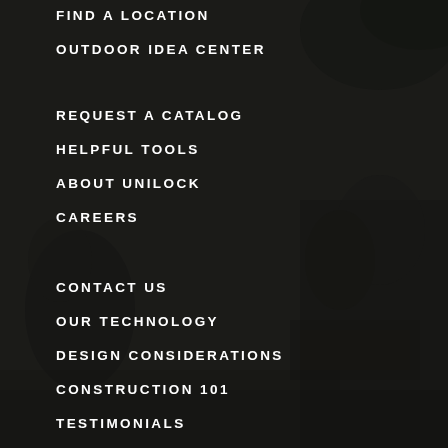FIND A LOCATION
OUTDOOR IDEA CENTER
REQUEST A CATALOG
HELPFUL TOOLS
ABOUT UNILOCK
CAREERS
CONTACT US
OUR TECHNOLOGY
DESIGN CONSIDERATIONS
CONSTRUCTION 101
TESTIMONIALS